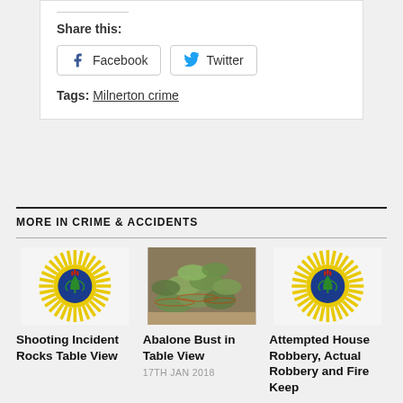Share this:
Facebook  Twitter
Tags: Milnerton crime
MORE IN CRIME & ACCIDENTS
[Figure (illustration): South African Police Service badge logo (yellow sunburst, blue circle, green protea)]
[Figure (photo): Pile of abalone shells on sandy ground]
[Figure (illustration): South African Police Service badge logo (yellow sunburst, blue circle, green protea)]
Shooting Incident Rocks Table View
Abalone Bust in Table View
17TH JAN 2018
Attempted House Robbery, Actual Robbery and Fire Keep